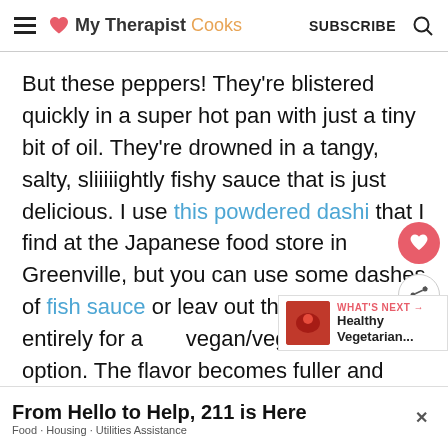My Therapist Cooks | SUBSCRIBE
But these peppers!  They're blistered quickly in a super hot pan with just a tiny bit of oil.  They're drowned in a tangy, salty, sliiiiightly fishy sauce that is just delicious.  I use this powdered dashi that I find at the Japanese food store in Greenville, but you can use some dashes of fish sauce or leave out the ingredient entirely for a vegan/vegetarian option.  The flavor becomes fuller and with more umami, not
[Figure (other): What's Next widget showing Healthy Vegetarian... with food image thumbnail]
From Hello to Help, 211 is Here | Food · Housing · Utilities Assistance